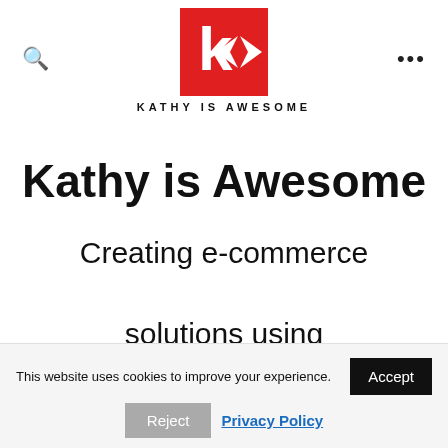[Figure (logo): Kathy is Awesome logo: red square with white 'k' and diamond arrow icon, text 'KATHY IS AWESOME' below]
Kathy is Awesome
Creating e-commerce solutions using WordPress and
This website uses cookies to improve your experience. Accept Reject Privacy Policy